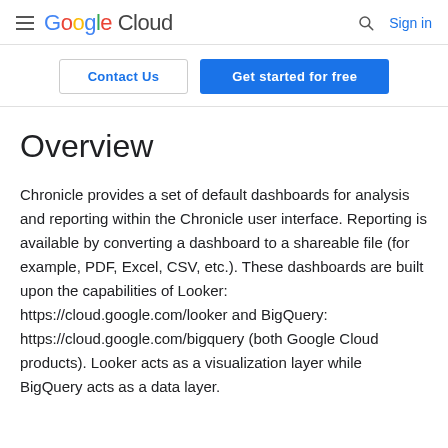Google Cloud  Sign in
Contact Us  Get started for free
Overview
Chronicle provides a set of default dashboards for analysis and reporting within the Chronicle user interface. Reporting is available by converting a dashboard to a shareable file (for example, PDF, Excel, CSV, etc.). These dashboards are built upon the capabilities of Looker: https://cloud.google.com/looker and BigQuery: https://cloud.google.com/bigquery (both Google Cloud products). Looker acts as a visualization layer while BigQuery acts as a data layer.